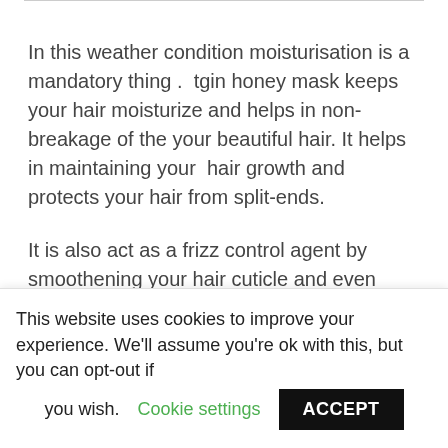In this weather condition moisturisation is a mandatory thing .  tgin honey mask keeps your hair moisturize and helps in non- breakage of the your beautiful hair. It helps in maintaining your  hair growth and protects your hair from split-ends.
It is also act as a frizz control agent by smoothening your hair cuticle and even adds shine to your hair.
Honey and olive oil both blends together
This website uses cookies to improve your experience. We'll assume you're ok with this, but you can opt-out if you wish. Cookie settings ACCEPT